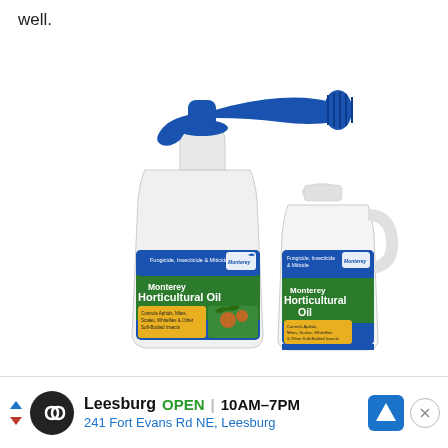well.
[Figure (photo): Two bottles of Monterey Horticultural Oil (Fungicide, Insecticide & Miticide). Left bottle is a larger spray bottle with a blue pump sprayer nozzle. Right bottle is a smaller jug with a white cap. Both labels are blue/green with the Monterey brand logo and text reading 'Monterey Horticultural Oil' and 'Controls Aphids, Mites, Scales, Whiteflies & Other Soft-Bodied Insects'.]
Leesburg OPEN 10AM–7PM 241 Fort Evans Rd NE, Leesburg